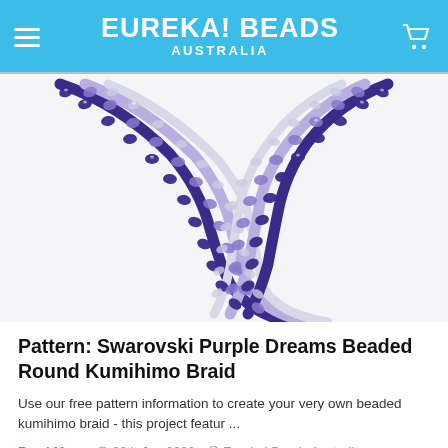EUREKA! BEADS AUSTRALIA
[Figure (photo): Close-up photo of a beaded kumihimo braid necklace made with Swarovski crystals in purple, lavender, and clear/silver colors arranged in a round braid pattern on a white background.]
Pattern: Swarovski Purple Dreams Beaded Round Kumihimo Braid
Use our free pattern information to create your very own beaded kumihimo braid - this project featur ...
Read More   30th Jun 2022   Eureka! Beads Australia